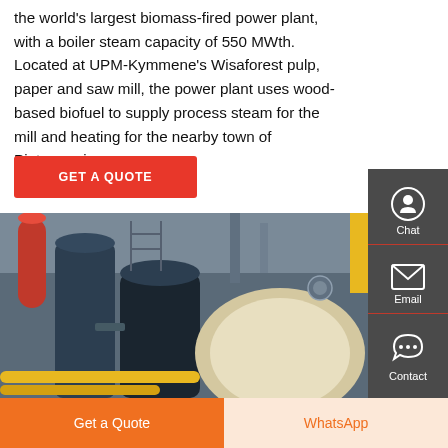the world's largest biomass-fired power plant, with a boiler steam capacity of 550 MWth. Located at UPM-Kymmene's Wisaforest pulp, paper and saw mill, the power plant uses wood-based biofuel to supply process steam for the mill and heating for the nearby town of Pietarsaari.
[Figure (other): Red button labeled GET A QUOTE]
[Figure (photo): Industrial boiler equipment interior showing pipes, valves, and a large cylindrical boiler vessel]
[Figure (other): Sidebar with Chat, Email, and Contact icons on dark grey background]
[Figure (other): Bottom navigation bar with Get a Quote (orange) and WhatsApp (light orange/text) buttons]